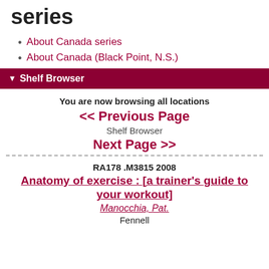series
About Canada series
About Canada (Black Point, N.S.)
▼ Shelf Browser
You are now browsing all locations
<< Previous Page
Shelf Browser
Next Page >>
RA178 .M3815 2008
Anatomy of exercise : [a trainer's guide to your workout]
Manocchia, Pat.
Fennell